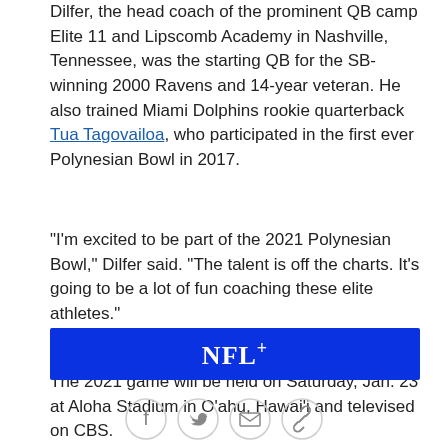Dilfer, the head coach of the prominent QB camp Elite 11 and Lipscomb Academy in Nashville, Tennessee, was the starting QB for the SB-winning 2000 Ravens and 14-year veteran. He also trained Miami Dolphins rookie quarterback Tua Tagovailoa, who participated in the first ever Polynesian Bowl in 2017.
"I'm excited to be part of the 2021 Polynesian Bowl," Dilfer said. "The talent is off the charts. It's going to be a lot of fun coaching these elite athletes."
The 2021 game will be held on Saturday, Jan. 23 at Aloha Stadium in O'ahu, Hawai'i and televised on CBS.
[Figure (logo): NFL+ logo on blue banner]
[Figure (infographic): Social media sharing icons: Facebook, Twitter, Email, Link]